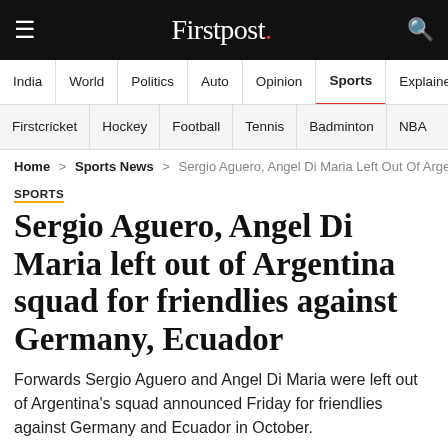Firstpost.
India | World | Politics | Auto | Opinion | Sports | Explainers
Firstcricket | Hockey | Football | Tennis | Badminton | NBA
Home > Sports News > Sergio Aguero, Angel Di Maria Left Out Of Argentina S
SPORTS
Sergio Aguero, Angel Di Maria left out of Argentina squad for friendlies against Germany, Ecuador
Forwards Sergio Aguero and Angel Di Maria were left out of Argentina's squad announced Friday for friendlies against Germany and Ecuador in October.
The Associated Press | September 28, 2019 11:51:01 IST